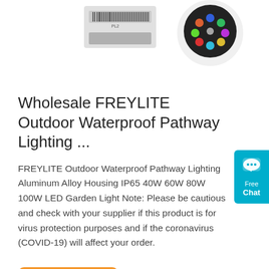[Figure (photo): Partial product image showing two LED garden lights against white background — left item appears to be a rectangular housing with barcode label, right item is a round bulb/reflector with colorful LED array visible]
Wholesale FREYLITE Outdoor Waterproof Pathway Lighting ...
FREYLITE Outdoor Waterproof Pathway Lighting Aluminum Alloy Housing IP65 40W 60W 80W 100W LED Garden Light Note: Please be cautious and check with your supplier if this product is for virus protection purposes and if the coronavirus (COVID-19) will affect your order.
[Figure (other): Blue chat widget button on right edge showing speech bubble icon with 'Free Chat' text]
Get Price